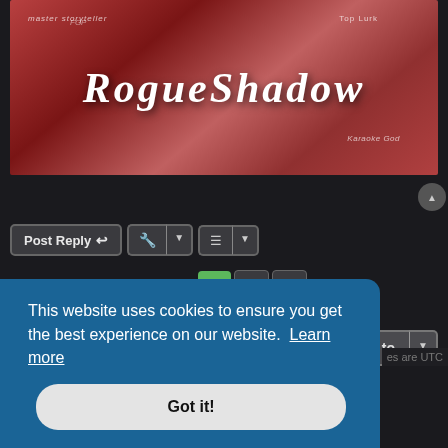[Figure (screenshot): RogueShadow forum banner image with red/pink artistic background and stylized white text reading 'RogueShadow'. Small text labels including 'master storyteller', 'Top Lurk', 'Karaoke God' visible in background.]
Post Reply
19 posts  1  2  >
Jump to
This website uses cookies to ensure you get the best experience on our website.  Learn more
Got it!
es are UTC